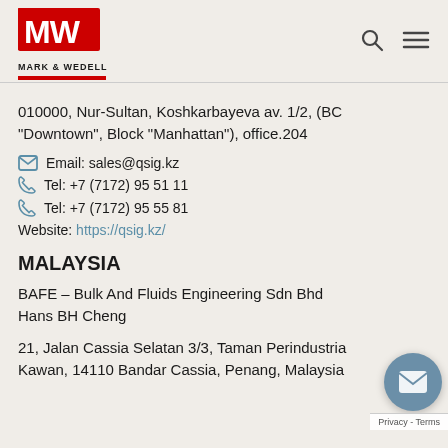[Figure (logo): Mark & Wedell logo — red MW icon with MARK & WEDELL text below]
010000, Nur-Sultan, Koshkarbayeva av. 1/2, (BC "Downtown", Block "Manhattan"), office.204
Email: sales@qsig.kz
Tel: +7 (7172) 95 51 11
Tel: +7 (7172) 95 55 81
Website: https://qsig.kz/
MALAYSIA
BAFE – Bulk And Fluids Engineering Sdn Bhd
Hans BH Cheng
21, Jalan Cassia Selatan 3/3, Taman Perindustria Kawan, 14110 Bandar Cassia, Penang, Malaysia